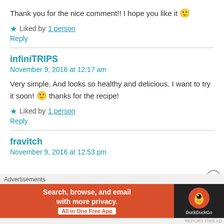Thank you for the nice comment!! I hope you like it 🙂
★ Liked by 1 person
Reply
infiniTRIPS
November 9, 2016 at 12:17 am
Very simple. And looks so healthy and delicious. I want to try it soon! 🙂 thanks for the recipe!
★ Liked by 1 person
Reply
fravitch
November 9, 2016 at 12:53 pm
Advertisements
Search, browse, and email with more privacy. All in One Free App DuckDuckGo